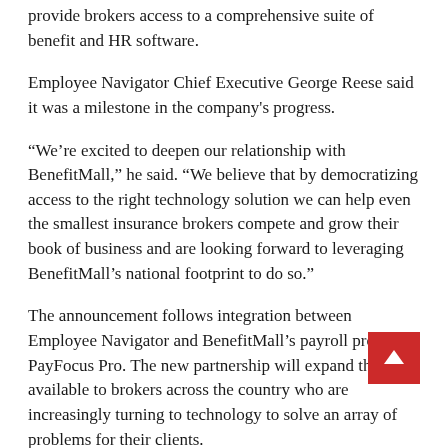provide brokers access to a comprehensive suite of benefit and HR software.
Employee Navigator Chief Executive George Reese said it was a milestone in the company's progress.
“We’re excited to deepen our relationship with BenefitMall,” he said. “We believe that by democratizing access to the right technology solution we can help even the smallest insurance brokers compete and grow their book of business and are looking forward to leveraging BenefitMall’s national footprint to do so.”
The announcement follows integration between Employee Navigator and BenefitMall’s payroll product, PayFocus Pro. The new partnership will expand the tools available to brokers across the country who are increasingly turning to technology to solve an array of problems for their clients.
“BenefitMall is very excited to offer brokers and clients a